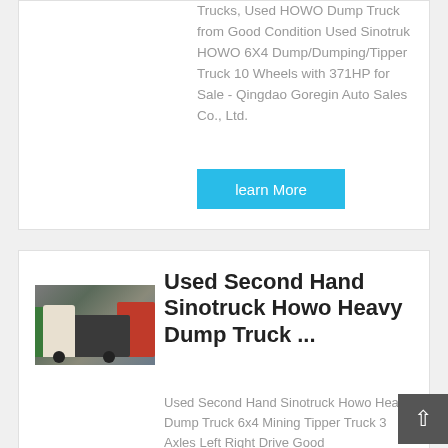Trucks, Used HOWO Dump Truck from Good Condition Used Sinotruk HOWO 6X4 Dump/Dumping/Tipper Truck 10 Wheels with 371HP for Sale - Qingdao Goregin Auto Sales Co., Ltd.
learn More
[Figure (photo): Photo of multiple used heavy dump trucks parked together, including red and green trucks]
Used Second Hand Sinotruck Howo Heavy Dump Truck ...
Used Second Hand Sinotruck Howo Heavy Dump Truck 6x4 Mining Tipper Truck 3 Axles Left Right Drive Good